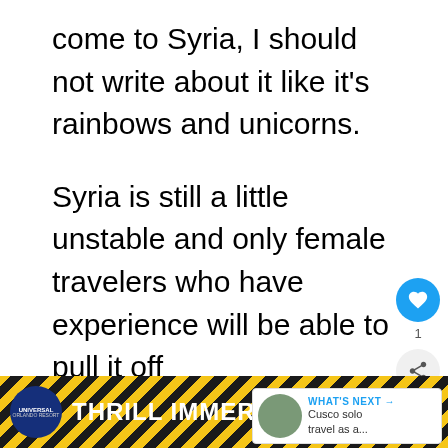come to Syria, I should not write about it like it's rainbows and unicorns.
Syria is still a little unstable and only female travelers who have experience will be able to pull it off
I felt very privileged that she regarded me as someone with the
[Figure (screenshot): UI overlay with heart/like button showing count of 1, and a share button]
[Figure (screenshot): What's Next widget showing Cusco solo travel as a... with thumbnail image]
[Figure (screenshot): Universal Orlando Resort Thrill Immersion advertisement banner at bottom of page]